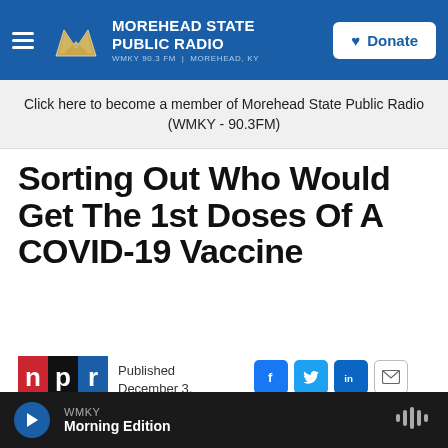Morehead State Public Radio — WMKY 90.3 FM | Morehead, KY — Donate
Click here to become a member of Morehead State Public Radio (WMKY - 90.3FM)
Sorting Out Who Would Get The 1st Doses Of A COVID-19 Vaccine
Published December 3, 2020 at 7:12 AM EST
[Figure (logo): NPR logo with red, black, and blue squares spelling 'n p r']
WMKY Morning Edition